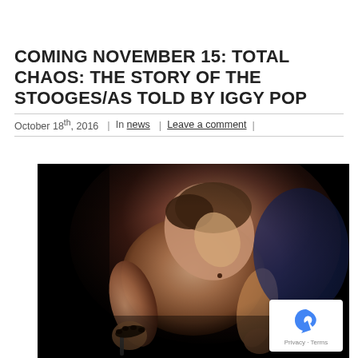COMING NOVEMBER 15: TOTAL CHAOS: THE STORY OF THE STOOGES/AS TOLD BY IGGY POP
October 18th, 2016 | In news | Leave a comment |
[Figure (photo): Black and white close-up performance photo of a shirtless male performer leaning forward, holding a microphone, with visible musculature and a bracelet, against a dark background.]